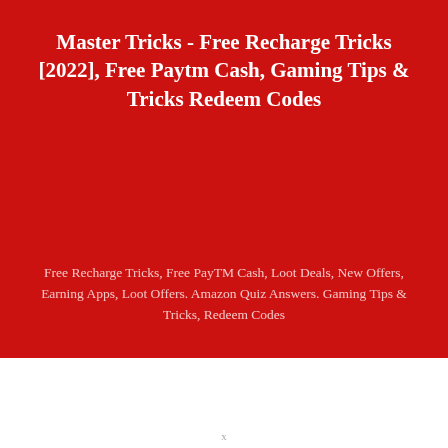Master Tricks - Free Recharge Tricks [2022], Free Paytm Cash, Gaming Tips & Tricks Redeem Codes
Free Recharge Tricks, Free PayTM Cash, Loot Deals, New Offers, Earning Apps, Loot Offers. Amazon Quiz Answers. Gaming Tips & Tricks, Redeem Codes
x